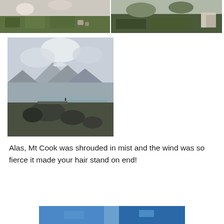[Figure (photo): Two landscape photos side by side showing snowy rocky terrain with green vegetation, mountains in background]
[Figure (photo): Large landscape photo of misty mountain lake scene with rocky foreground, cloudy sky, and person standing on rocks by turquoise water (Mt Cook / Hooker Valley area, New Zealand)]
Alas, Mt Cook was shrouded in mist and the wind was so fierce it made your hair stand on end!
[Figure (photo): Partial photo at bottom of page, partially cropped, showing blue water or sky scene]